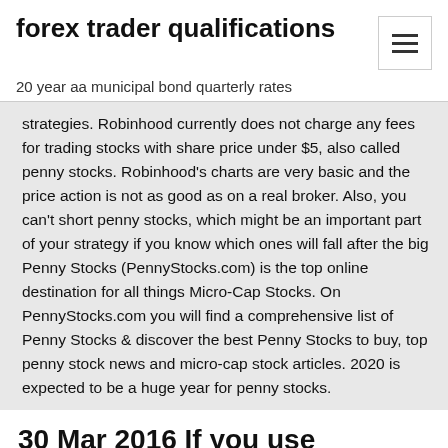forex trader qualifications
20 year aa municipal bond quarterly rates
strategies. Robinhood currently does not charge any fees for trading stocks with share price under $5, also called penny stocks. Robinhood's charts are very basic and the price action is not as good as on a real broker. Also, you can't short penny stocks, which might be an important part of your strategy if you know which ones will fall after the big Penny Stocks (PennyStocks.com) is the top online destination for all things Micro-Cap Stocks. On PennyStocks.com you will find a comprehensive list of Penny Stocks & discover the best Penny Stocks to buy, top penny stock news and micro-cap stock articles. 2020 is expected to be a huge year for penny stocks.
30 Mar 2016 If you use Robinhood, you can buy stocks with zero trading fees. That